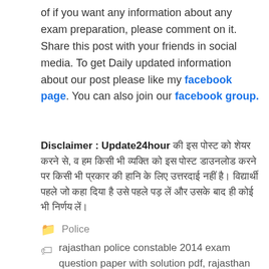of if you want any information about any exam preparation, please comment on it. Share this post with your friends in social media. To get Daily updated information about our post please like my facebook page. You can also join our facebook group.
Disclaimer : Update24hour कि इस पोस्ट को शेयर करने से, व हम किसी भी व्यक्ति को जूस पोस्ट डाउनलोड करने पर किसी भी प्रकार की हानि के लिए उत्तरदाई नहीं है। विद्यार्थी पहले जो कहा दिया है उसे पहले पड़ लें और उसके बाद ही कोई भी निर्णय लें।
Police
rajasthan police constable 2014 exam question paper with solution pdf, rajasthan police constable old exam. paper download, rajasthan police